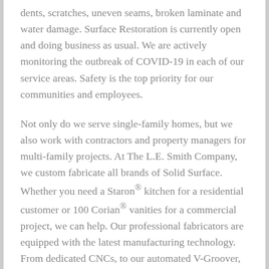dents, scratches, uneven seams, broken laminate and water damage. Surface Restoration is currently open and doing business as usual. We are actively monitoring the outbreak of COVID-19 in each of our service areas. Safety is the top priority for our communities and employees.
Not only do we serve single-family homes, but we also work with contractors and property managers for multi-family projects. At The L.E. Smith Company, we custom fabricate all brands of Solid Surface. Whether you need a Staron® kitchen for a residential customer or 100 Corian® vanities for a commercial project, we can help. Our professional fabricators are equipped with the latest manufacturing technology. From dedicated CNCs, to our automated V-Groover, we've invested in the equipment necessary to increase efficiency and output for coved backsplash and miter fold applications. We also have a thermoforming oven allowing for limitless bonds and applications.